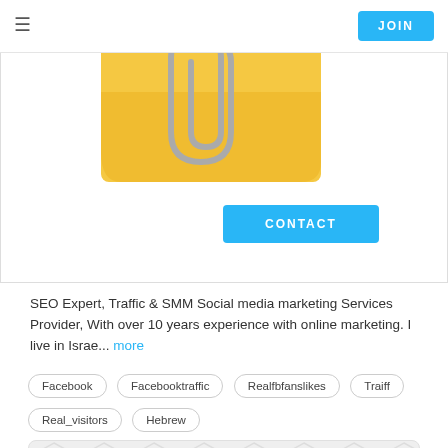≡   JOIN   CONTACT
[Figure (illustration): Yellow folder icon with paperclip and a blue CONTACT button overlapping it]
SEO Expert, Traffic & SMM Social media marketing Services Provider, With over 10 years experience with online marketing. I live in Israe... more
Facebook
Facebooktraffic
Realfbfanslikes
Traiff
Real_visitors
Hebrew
[Figure (illustration): Grey hexagonal pattern background card with Level 1 badge and partial profile avatar at bottom]